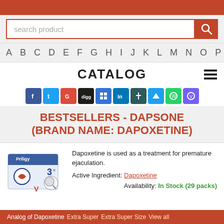[Figure (screenshot): Search product input box with orange search button and magnifier icon]
A B C D E F G H I J K L M N O P
CATALOG
[Figure (infographic): Social media sharing icons: Facebook, Twitter, Google+, Digg, Delicious, LinkedIn, Pinboard, Twitter/Bluesky, WhatsApp, Viber]
BESTSELLERS - DAPSONE (BRAND NAME: DAPOXETINE)
[Figure (photo): Priligy medication box product image with magnifier overlay]
Dapoxetine is used as a treatment for premature ejaculation.
Active Ingredient: Dapoxetine
Availability: In Stock (29 packs)
Analog of Dapoxetine Extra Super Extra Super Size View all